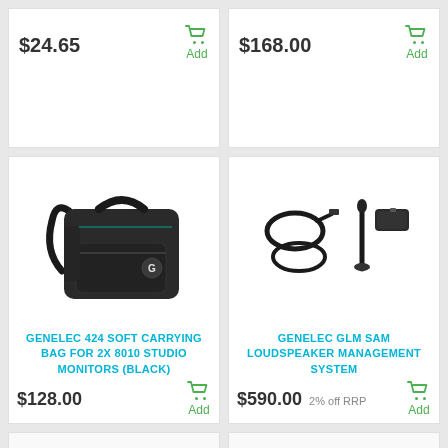$24.65
Add
$168.00
Add
[Figure (photo): Black soft carrying bag with shoulder strap and handle, Genelec branded with G logo]
GENELEC 424 SOFT CARRYING BAG FOR 2X 8010 STUDIO MONITORS (BLACK)
$128.00
Add
[Figure (photo): Genelec GLM SAM system accessories: USB cable, microphone, and carry case]
GENELEC GLM SAM LOUDSPEAKER MANAGEMENT SYSTEM
$590.00 2% off RRP
Add